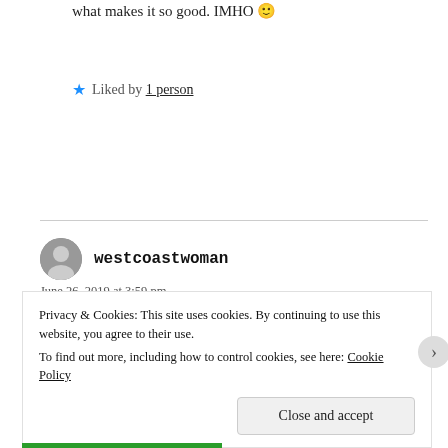what makes it so good. IMHO 🙂
★ Liked by 1 person
westcoastwoman
June 26, 2019 at 3:59 pm
liminal space……bring it on
Privacy & Cookies: This site uses cookies. By continuing to use this website, you agree to their use.
To find out more, including how to control cookies, see here: Cookie Policy
Close and accept